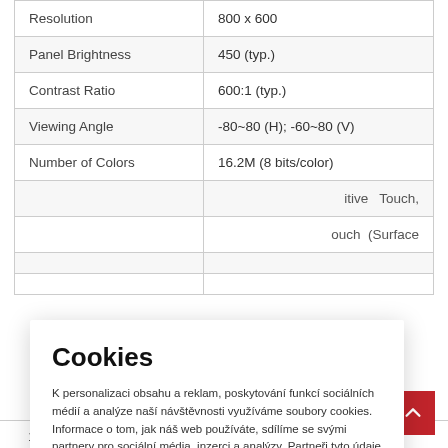| Specification | Value |
| --- | --- |
| Resolution | 800 x 600 |
| Panel Brightness | 450 (typ.) |
| Contrast Ratio | 600:1 (typ.) |
| Viewing Angle | -80~80 (H); -60~80 (V) |
| Number of Colors | 16.2M (8 bits/color) |
|  | ...itive Touch, |
|  | ...ouch (Surface |
|  |  |
|  |  |
|  | 12V DC in, with External AC-DC |
Cookies

K personalizaci obsahu a reklam, poskytování funkcí sociálních médií a analýze naší návštěvnosti využíváme soubory cookies. Informace o tom, jak náš web používáte, sdílíme se svými partnery pro sociální média, inzerci a analýzy. Partneři tyto údaje mohou zkombinovat s dalšími informacemi, které jste jim poskytli nebo které získali v důsledku toho, že používáte jejich služby. Zobrazit podrobnosti.

SOUHLASÍM